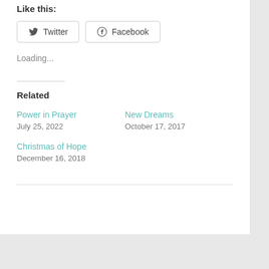Like this:
Twitter | Facebook
Loading...
Related
Power in Prayer
July 25, 2022
New Dreams
October 17, 2017
Christmas of Hope
December 16, 2018